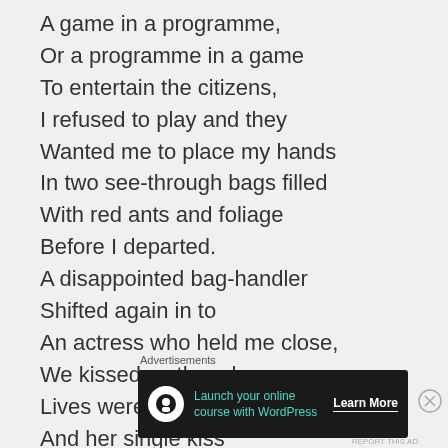A game in a programme,
Or a programme in a game
To entertain the citizens,
I refused to play and they
Wanted me to place my hands
In two see-through bags filled
With red ants and foliage
Before I departed.
A disappointed bag-handler
Shifted again in to
An actress who held me close,
We kissed as though our
Lives were martyred,
And her single kiss
El...
Advertisements
[Figure (infographic): Advertisement banner: Launch your online course with WordPress. Learn More button.]